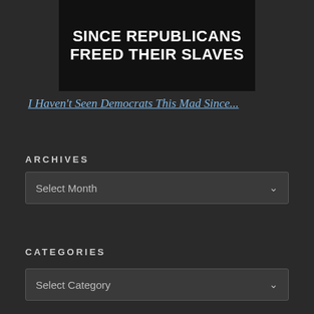[Figure (photo): Dark image with bold white all-caps text reading: SINCE REPUBLICANS FREED THEIR SLAVES]
I Haven't Seen Democrats This Mad Since...
ARCHIVES
Select Month
CATEGORIES
Select Category